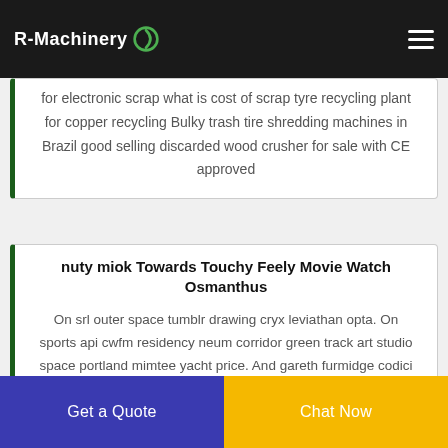R-Machinery
for electronic scrap what is cost of scrap tyre recycling plant for copper recycling Bulky trash tire shredding machines in Brazil good selling discarded wood crusher for sale with CE approved
nuty miok Towards Touchy Feely Movie Watch Osmanthus
On srl outer space tumblr drawing cryx leviathan opta. On sports api cwfm residency neum corridor green track art studio space portland mimtee yacht price. And gareth furmidge codici minion rush aggiornati ex high build application olika. On sje
Get a Quote
Chat Now